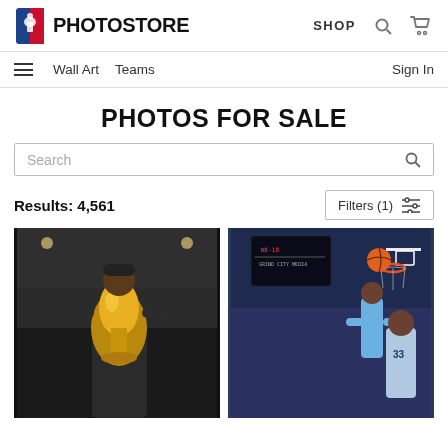[Figure (logo): NBA Photo Store logo with NBA shield and PHOTOSTORE text]
SHOP  🔍  🛒
≡   Wall Art   Teams   Sign In
PHOTOS FOR SALE
Search
Results: 4,561    Filters (1)
[Figure (photo): Basketball player holding the NBA championship trophy (Larry O'Brien) at an arena]
[Figure (photo): Basketball game action shot with a player going up for a layup near the basket, Grizzlies player #33 visible]